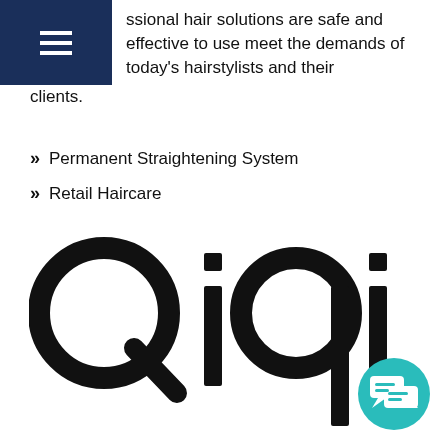ssional hair solutions are safe and effective to use meet the demands of today's hairstylists and their clients.
Permanent Straightening System
Retail Haircare
[Figure (logo): Qiqi brand logo in large black bold letters]